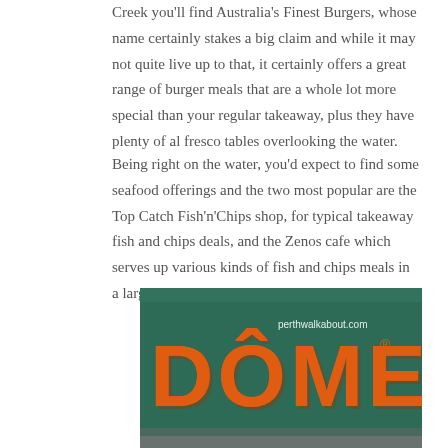Creek you'll find Australia's Finest Burgers, whose name certainly stakes a big claim and while it may not quite live up to that, it certainly offers a great range of burger meals that are a whole lot more special than your regular takeaway, plus they have plenty of al fresco tables overlooking the water.
Being right on the water, you'd expect to find some seafood offerings and the two most popular are the Top Catch Fish'n'Chips shop, for typical takeaway fish and chips deals, and the Zenos cafe which serves up various kinds of fish and chips meals in a large restaurant area.
[Figure (photo): Photo of a DOME cafe sign — large orange neon-style letters spelling DOME on a dark green background, with a circumflex accent over the O. Watermark reads perthwalkabout.com in white text top right.]